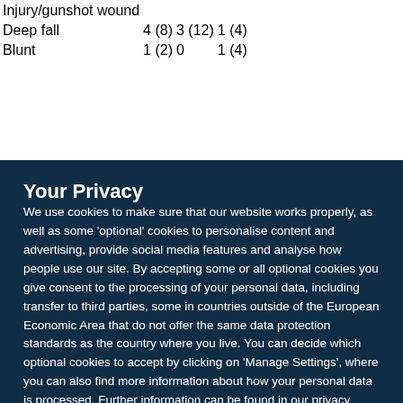| Injury/gunshot wound |  |  |  |
| Deep fall | 4 (8) | 3 (12) | 1 (4) |
| Blunt | 1 (2) | 0 | 1 (4) |
Your Privacy
We use cookies to make sure that our website works properly, as well as some 'optional' cookies to personalise content and advertising, provide social media features and analyse how people use our site. By accepting some or all optional cookies you give consent to the processing of your personal data, including transfer to third parties, some in countries outside of the European Economic Area that do not offer the same data protection standards as the country where you live. You can decide which optional cookies to accept by clicking on 'Manage Settings', where you can also find more information about how your personal data is processed. Further information can be found in our privacy policy.
Accept all cookies
Manage preferences